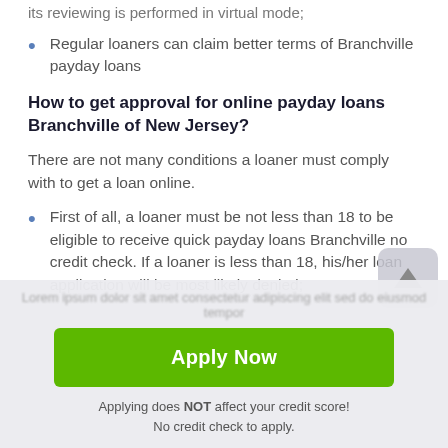its reviewing is performed in virtual mode;
Regular loaners can claim better terms of Branchville payday loans
How to get approval for online payday loans Branchville of New Jersey?
There are not many conditions a loaner must comply with to get a loan online.
First of all, a loaner must be not less than 18 to be eligible to receive quick payday loans Branchville no credit check. If a loaner is less than 18, his/her loan application will be most likely denied;
Apply Now
Applying does NOT affect your credit score!
No credit check to apply.